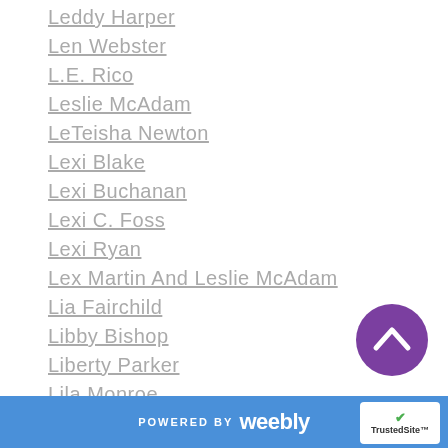Leddy Harper
Len Webster
L.E. Rico
Leslie McAdam
LeTeisha Newton
Lexi Blake
Lexi Buchanan
Lexi C. Foss
Lexi Ryan
Lex Martin And Leslie McAdam
Lia Fairchild
Libby Bishop
Liberty Parker
Lila Monroe
Lila Rose
Liliana Rhodes
Lili St German
[Figure (other): Purple circular scroll-to-top button with upward chevron arrow]
POWERED BY weebly | TrustedSite